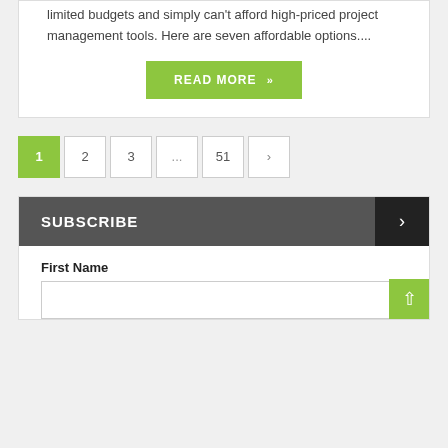limited budgets and simply can't afford high-priced project management tools. Here are seven affordable options....
READ MORE »
1  2  3  ...  51  >
SUBSCRIBE
First Name